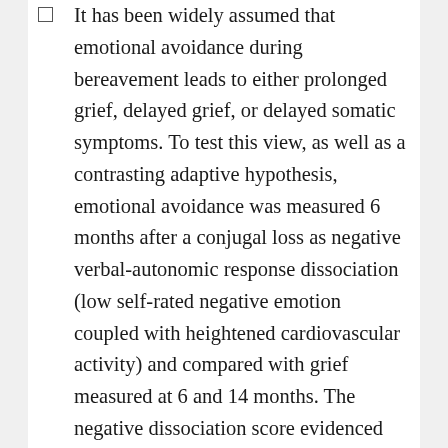It has been widely assumed that emotional avoidance during bereavement leads to either prolonged grief, delayed grief, or delayed somatic symptoms. To test this view, as well as a contrasting adaptive hypothesis, emotional avoidance was measured 6 months after a conjugal loss as negative verbal-autonomic response dissociation (low self-rated negative emotion coupled with heightened cardiovascular activity) and compared with grief measured at 6 and 14 months. The negative dissociation score evidenced reliability and validity but did not evidence the assumed link to severe grief. Rather,